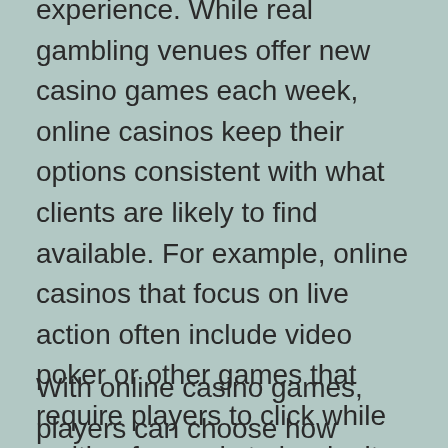experience. While real gambling venues offer new casino games each week, online casinos keep their options consistent with what clients are likely to find available. For example, online casinos that focus on live action often include video poker or other games that require players to click while waiting for cards to be dealt. In contrast, online casinos that do not focus on live action may offer no game for players to play, though they may have some slot machines available.
With online casino games, players can choose how much money they want to risk. They can